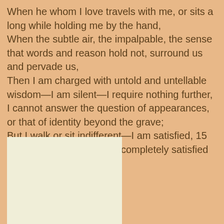When he whom I love travels with me, or sits a long while holding me by the hand,
When the subtle air, the impalpable, the sense that words and reason hold not, surround us and pervade us,
Then I am charged with untold and untellable wisdom—I am silent—I require nothing further,
I cannot answer the question of appearances, or that of identity beyond the grave;
But I walk or sit indifferent—I am satisfied, 15
He ahold of my hand has completely satisfied me.
[Figure (other): A light cream/off-white rectangular block on the salmon/peach background, likely a page or illustration placeholder.]